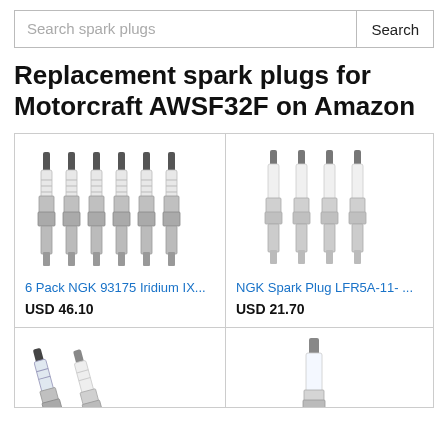[Figure (screenshot): Search bar with placeholder text 'Search spark plugs' and a 'Search' button on the right]
Replacement spark plugs for Motorcraft AWSF32F on Amazon
[Figure (photo): 6 Pack NGK 93175 Iridium IX spark plugs shown in a row]
6 Pack NGK 93175 Iridium IX...
USD 46.10
[Figure (photo): NGK Spark Plug LFR5A-11 shown in a group of 4]
NGK Spark Plug LFR5A-11- ...
USD 21.70
[Figure (photo): Two spark plugs shown at bottom left, partially visible]
[Figure (photo): Single spark plug shown at bottom right, partially visible]